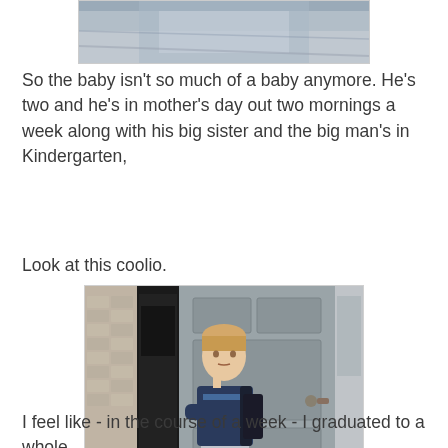[Figure (photo): Partial photo at top of page showing clothing/fabric detail, cropped]
So the baby isn't so much of a baby anymore. He's two and he's in mother's day out two mornings a week along with his big sister and the big man's in Kindergarten,
Look at this coolio.
[Figure (photo): A young boy with blond hair standing in front of a grey door with arms crossed, wearing a blue striped shirt, navy cardigan, grey shorts, and sneakers, with a backpack]
I feel like - in the course of a week - I graduated to a whole